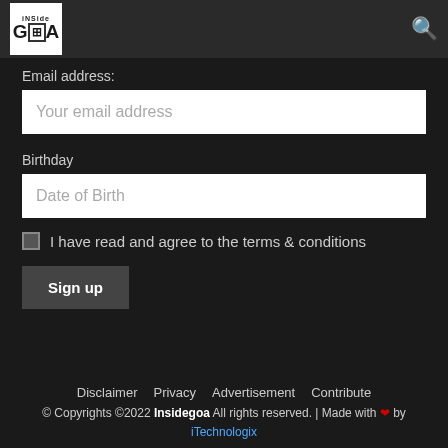[Figure (logo): Inside Goa logo - white box with stylized GOA text and window icon]
Email address:
Your email address
Birthday
Date of Birth
I have read and agree to the terms & conditions
Sign up
Disclaimer  Privacy  Advertisement  Contribute
© Copyrights ©2022 Insidegoa All rights reserved. | Made with ❤ by iTechnologix